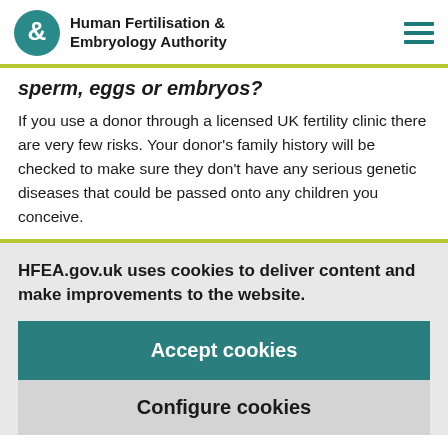Human Fertilisation & Embryology Authority
sperm, eggs or embryos?
If you use a donor through a licensed UK fertility clinic there are very few risks. Your donor's family history will be checked to make sure they don't have any serious genetic diseases that could be passed onto any children you conceive.
HFEA.gov.uk uses cookies to deliver content and make improvements to the website.
Accept cookies
Configure cookies